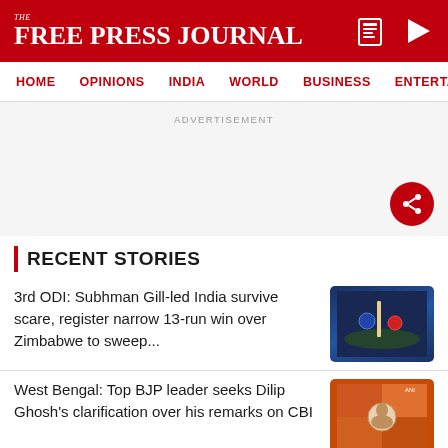THE FREE PRESS JOURNAL
HOME  OPINIONS  INDIA  WORLD  BUSINESS  ENTERTAIN
ADVERTISEMENT
RECENT STORIES
3rd ODI: Subhman Gill-led India survive scare, register narrow 13-run win over Zimbabwe to sweep...
West Bengal: Top BJP leader seeks Dilip Ghosh's clarification over his remarks on CBI
ADVERTISEMENT